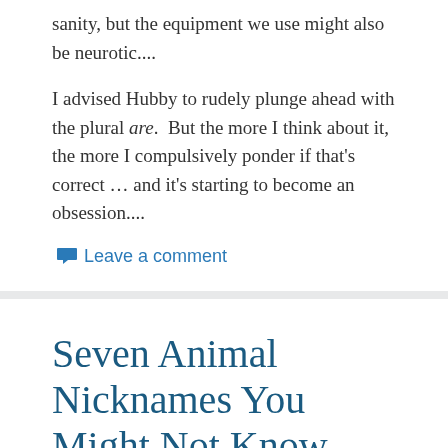sanity, but the equipment we use might also be neurotic....
I advised Hubby to rudely plunge ahead with the plural are.  But the more I think about it, the more I compulsively ponder if that's correct … and it's starting to become an obsession....
Leave a comment
Seven Animal Nicknames You Might Not Know